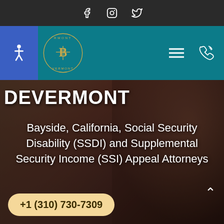Social media icons: Facebook, Instagram, Twitter
[Figure (logo): Devermont law firm logo with scales of justice emblem in teal navigation bar, accessibility icon on blue square, hamburger menu and phone icons]
DEVERMONT
Bayside, California, Social Security Disability (SSDI) and Supplemental Security Income (SSI) Appeal Attorneys
+1 (310) 730-7309